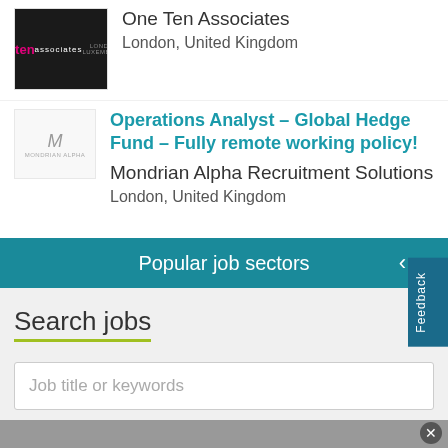[Figure (logo): One Ten Associates logo — black background with 'one' in white and 'ten' in pink, 'associates' text below, 'London | Luxembourg' in grey]
One Ten Associates
London, United Kingdom
[Figure (logo): Mondrian Alpha Recruitment Solutions logo — grey/white background with stylized M letterform]
Operations Analyst – Global Hedge Fund – Fully remote working policy!
Mondrian Alpha Recruitment Solutions
London, United Kingdom
Popular job sectors
Search jobs
Job title or keywords
Location
Search jobs